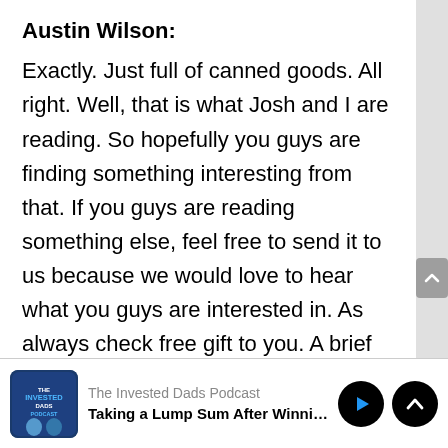Austin Wilson: Exactly. Just full of canned goods. All right. Well, that is what Josh and I are reading. So hopefully you guys are finding something interesting from that. If you guys are reading something else, feel free to send it to us because we would love to hear what you guys are interested in. As always check free gift to you. A brief list of eight principles of timeless investing. These are
[Figure (screenshot): Podcast player bar showing The Invested Dads Podcast logo, episode title 'Taking a Lump Sum After Winning', play button and scroll up button controls]